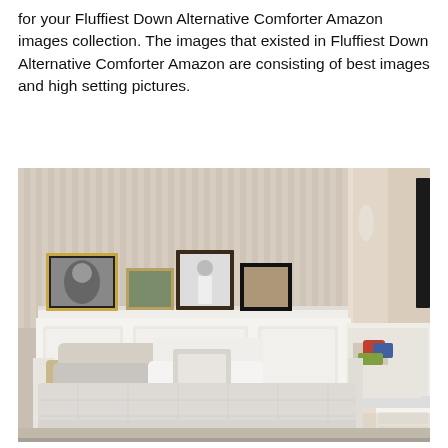for your Fluffiest Down Alternative Comforter Amazon images collection. The images that existed in Fluffiest Down Alternative Comforter Amazon are consisting of best images and high setting pictures.
[Figure (photo): A bedroom scene showing a neatly made bed with a light gray/white down alternative comforter, multiple pillows, and a white paneled headboard. On a shelf behind the headboard are several framed photos. To the right is a seating area with a sofa and colorful accent pillows.]